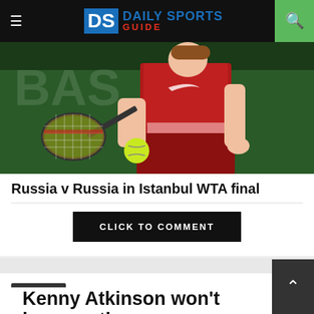Daily Sports Guide
[Figure (photo): Female tennis player in red Nike outfit hitting a forehand, with a yellow tennis ball in the air, photographed at an outdoor court]
Russia v Russia in Istanbul WTA final
CLICK TO COMMENT
Basketball
Kenny Atkinson won't become the